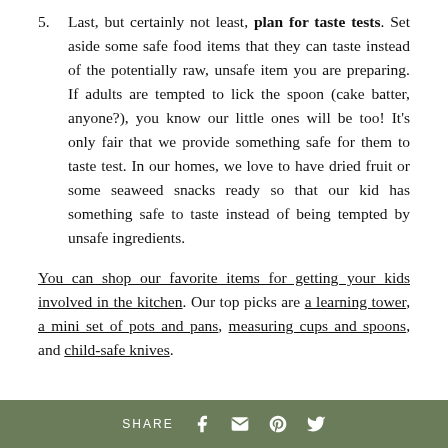5. Last, but certainly not least, plan for taste tests. Set aside some safe food items that they can taste instead of the potentially raw, unsafe item you are preparing. If adults are tempted to lick the spoon (cake batter, anyone?), you know our little ones will be too! It's only fair that we provide something safe for them to taste test. In our homes, we love to have dried fruit or some seaweed snacks ready so that our kid has something safe to taste instead of being tempted by unsafe ingredients.
You can shop our favorite items for getting your kids involved in the kitchen. Our top picks are a learning tower, a mini set of pots and pans, measuring cups and spoons, and child-safe knives.
SHARE